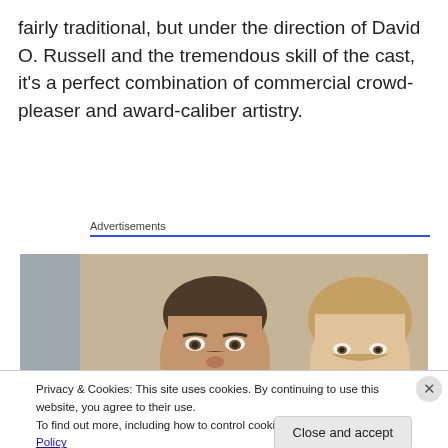fairly traditional, but under the direction of David O. Russell and the tremendous skill of the cast, it's a perfect combination of commercial crowd-pleaser and award-caliber artistry.
Advertisements
[Figure (photo): Two people (a man and a woman) peering over something, from a movie scene]
Privacy & Cookies: This site uses cookies. By continuing to use this website, you agree to their use.
To find out more, including how to control cookies, see here: Cookie Policy
Close and accept